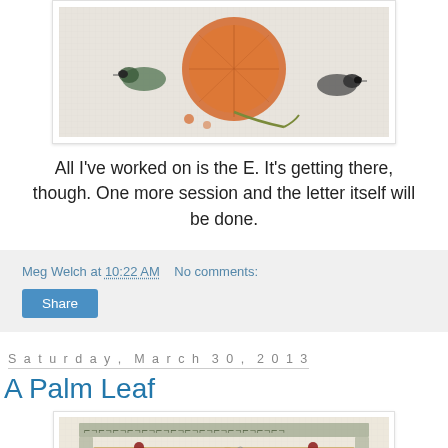[Figure (photo): Cross-stitch needlework photo showing birds and an orange/round element on canvas mesh]
All I've worked on is the E.  It's getting there, though.  One more session and the letter itself will be done.
Meg Welch at 10:22 AM   No comments:
Share
Saturday, March 30, 2013
A Palm Leaf
[Figure (photo): Cross-stitch needlework in progress showing a palm leaf design with decorative border on canvas mesh]